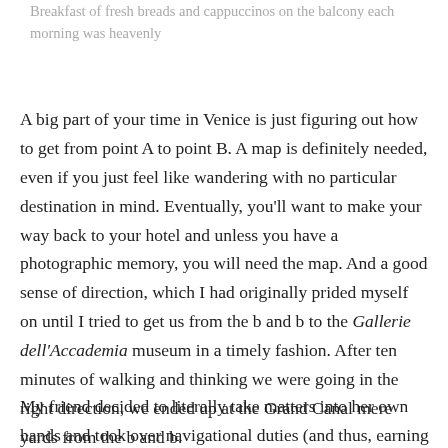Breakfast of fresh breads and cappuccinos on the balcony each morning was heavenly
A big part of your time in Venice is just figuring out how to get from point A to point B. A map is definitely needed, even if you just feel like wandering with no particular destination in mind. Eventually, you’ll want to make your way back to your hotel and unless you have a photographic memory, you will need the map. And a good sense of direction, which I had originally prided myself on until I tried to get us from the b and b to the Gallerie dell’Accademia museum in a timely fashion. After ten minutes of walking and thinking we were going in the right direction, we ended up at the Grand Canal mere yards from the b and b.
My friend decided to literally take matters into her own hands and took over navigational duties (and thus, earning